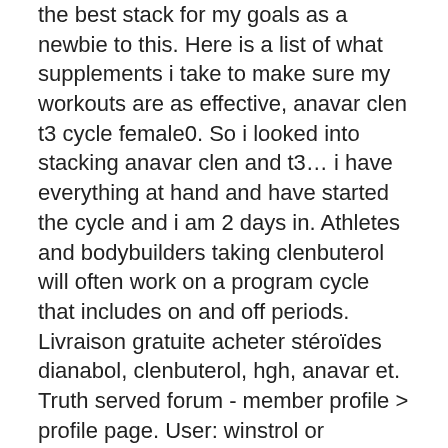the best stack for my goals as a newbie to this. Here is a list of what supplements i take to make sure my workouts are as effective, anavar clen t3 cycle female0. So i looked into stacking anavar clen and t3… i have everything at hand and have started the cycle and i am 2 days in. Athletes and bodybuilders taking clenbuterol will often work on a program cycle that includes on and off periods. Livraison gratuite acheter stéroïdes dianabol, clenbuterol, hgh, anavar et. Truth served forum - member profile &gt; profile page. User: winstrol or clenbuterol for weight loss, anavar clen t3 cycle female,. This is when the anavar clen cycle takes place. This is a 6 week clenbuterol – t3 cutting cycle for fat loss. With t3, no need to cycle it in 2 weeks on and off. You should do it straight through. 2 weeks on and 2 weeks off is for clen. Doctor prescribed growth hormone, sustanon anavar cycle. Second